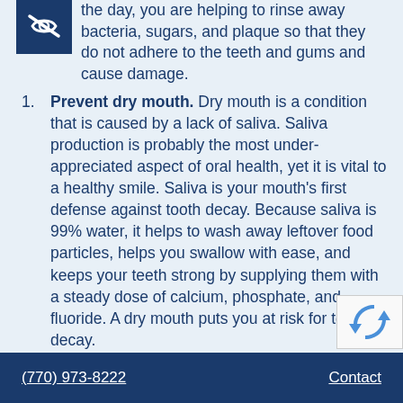the day, you are helping to rinse away bacteria, sugars, and plaque so that they do not adhere to the teeth and gums and cause damage.
Prevent dry mouth. Dry mouth is a condition that is caused by a lack of saliva. Saliva production is probably the most under-appreciated aspect of oral health, yet it is vital to a healthy smile. Saliva is your mouth's first defense against tooth decay. Because saliva is 99% water, it helps to wash away leftover food particles, helps you swallow with ease, and keeps your teeth strong by supplying them with a steady dose of calcium, phosphate, and fluoride. A dry mouth puts you at risk for tooth decay.
Freshen your breath. Again, water washes away the bad stuff – and that includes residues that cause bad breath. Water is a natural breath...
(770) 973-8222    Contact